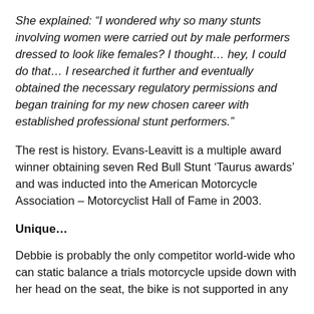She explained: “I wondered why so many stunts involving women were carried out by male performers dressed to look like females? I thought… hey, I could do that… I researched it further and eventually obtained the necessary regulatory permissions and began training for my new chosen career with established professional stunt performers.”
The rest is history. Evans-Leavitt is a multiple award winner obtaining seven Red Bull Stunt ‘Taurus awards’ and was inducted into the American Motorcycle Association – Motorcyclist Hall of Fame in 2003.
Unique…
Debbie is probably the only competitor world-wide who can static balance a trials motorcycle upside down with her head on the seat, the bike is not supported in any